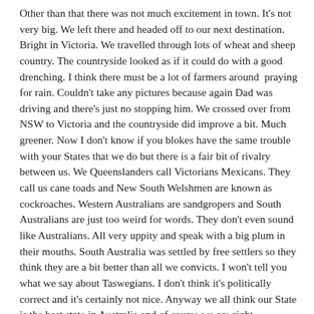Other than that there was not much excitement in town. It's not very big. We left there and headed off to our next destination. Bright in Victoria. We travelled through lots of wheat and sheep country. The countryside looked as if it could do with a good drenching. I think there must be a lot of farmers around  praying for rain. Couldn't take any pictures because again Dad was driving and there's just no stopping him. We crossed over from NSW to Victoria and the countryside did improve a bit. Much greener. Now I don't know if you blokes have the same trouble with your States that we do but there is a fair bit of rivalry between us. We Queenslanders call Victorians Mexicans. They call us cane toads and New South Welshmen are known as cockroaches. Western Australians are sandgropers and South Australians are just too weird for words. They don't even sound like Australians. All very uppity and speak with a big plum in their mouths. South Australia was settled by free settlers so they think they are a bit better than all we convicts. I won't tell you what we say about Taswegians. I don't think it's politically correct and it's certainly not nice. Anyway we all think our State is the best state in Australia and of course we are right. Queensland is definitely the best. But right now I'm in Victoria and it looks pretty good to me except I don't know how bright they are here in Bright. We have been for lots of